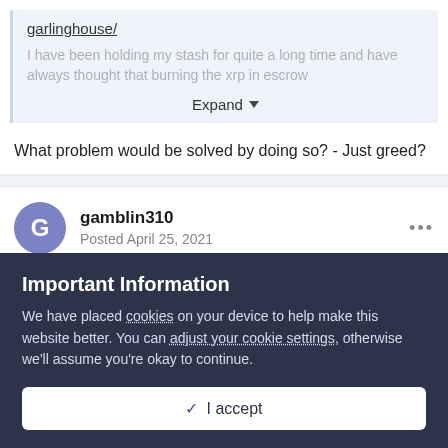garlinghouse/
I have been holding my stash for quite a long time and have always thought that burning the xrp in escrow
Expand
What problem would be solved by doing so? - Just greed?
gamblin310
Posted April 25, 2021
Important Information
We have placed cookies on your device to help make this website better. You can adjust your cookie settings, otherwise we'll assume you're okay to continue.
✓  I accept